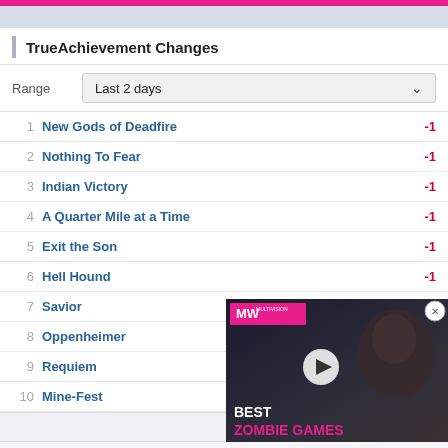TrueAchievement Changes
Range: Last 2 days
1  New Gods of Deadfire  -1
2  Nothing To Fear  -1
3  Indian Victory  -1
4  A Quarter Mile at a Time  -1
5  Exit the Son  -1
6  Hell Hound  -1
7  Savior
8  Oppenheimer
9  Requiem
10  Mine-Fest
[Figure (screenshot): Advertisement overlay showing MW logo badge, play button, and text 'BEST ZOMBIE GAMES' with pink and white lettering over a dark video background. A close (X) button appears in the top-right corner.]
Achievement Streaks
12 Dec 13    26 days    87 achievements